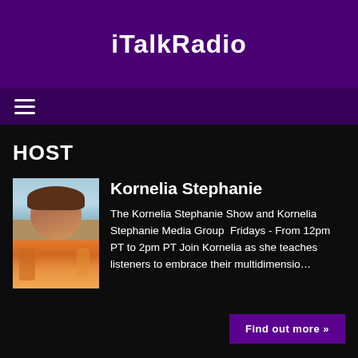iTalkRadio
[Figure (other): Hamburger menu icon (three horizontal lines)]
HOST
[Figure (photo): Photo of Kornelia Stephanie, a woman with short brown hair wearing a floral top, outdoors near water]
Kornelia Stephanie
The Kornelia Stephanie Show and Kornelia Stephanie Media Group  Fridays - From 12pm PT to 2pm PT Join Kornelia as she teaches listeners to embrace their multidimensio…
Find out more »